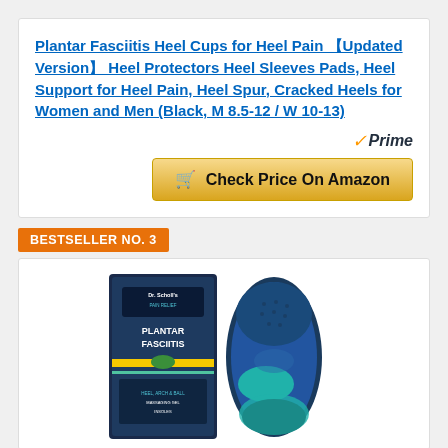Plantar Fasciitis Heel Cups for Heel Pain 【Updated Version】 Heel Protectors Heel Sleeves Pads, Heel Support for Heel Pain, Heel Spur, Cracked Heels for Women and Men (Black, M 8.5-12 / W 10-13)
[Figure (other): Amazon Prime badge with orange checkmark and italic Prime text]
[Figure (other): Golden/yellow Amazon button with shopping cart icon labeled Check Price On Amazon]
BESTSELLER NO. 3
[Figure (photo): Dr. Scholl's Plantar Fasciitis insole product showing box packaging and a blue/teal insole]